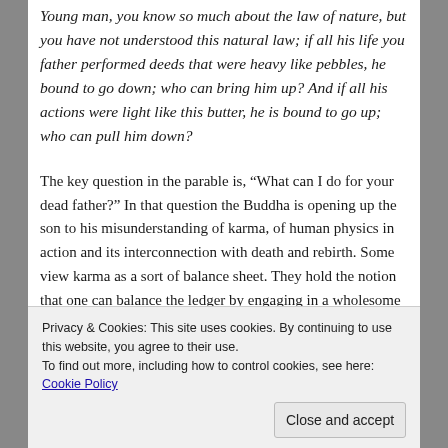Young man, you know so much about the law of nature, but you have not understood this natural law; if all his life you father performed deeds that were heavy like pebbles, he bound to go down; who can bring him up? And if all his actions were light like this butter, he is bound to go up; who can pull him down?
The key question in the parable is, “What can I do for your dead father?” In that question the Buddha is opening up the son to his misunderstanding of karma, of human physics in action and its interconnection with death and rebirth. Some view karma as a sort of balance sheet. They hold the notion that one can balance the ledger by engaging in a wholesome act in order to negate the effect of an unwholesome act. Also, that certain rituals can be performed to alter the past of the dead in order to gain them entry into a place of ease and
Privacy & Cookies: This site uses cookies. By continuing to use this website, you agree to their use.
To find out more, including how to control cookies, see here: Cookie Policy
Close and accept